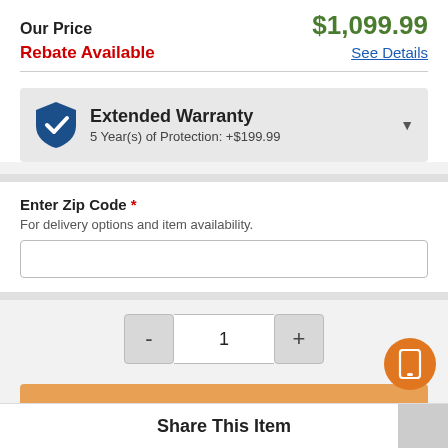Our Price   $1,099.99
Rebate Available   See Details
Extended Warranty
5 Year(s) of Protection: +$199.99
Enter Zip Code *
For delivery options and item availability.
1
Add to Cart
Share This Item